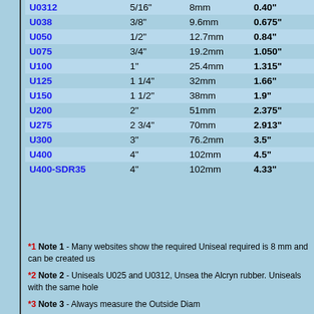| Code | Inch | mm | O.D. |
| --- | --- | --- | --- |
| U0312 | 5/16" | 8mm | 0.40" |
| U038 | 3/8" | 9.6mm | 0.675" |
| U050 | 1/2" | 12.7mm | 0.84" |
| U075 | 3/4" | 19.2mm | 1.050" |
| U100 | 1" | 25.4mm | 1.315" |
| U125 | 1 1/4" | 32mm | 1.66" |
| U150 | 1 1/2" | 38mm | 1.9" |
| U200 | 2" | 51mm | 2.375" |
| U275 | 2 3/4" | 70mm | 2.913" |
| U300 | 3" | 76.2mm | 3.5" |
| U400 | 4" | 102mm | 4.5" |
| U400-SDR35 | 4" | 102mm | 4.33" |
*1 Note 1 - Many websites show the required Uniseal required is 8 mm and can be created us
*2 Note 2 - Uniseals U025 and U0312, Unsea the Alcryn rubber. Uniseals with the same hole
*3 Note 3 - Always measure the Outside Diam
Water Flow Per Minute through associated pi
Pipe I.D. - the Inside Diameter or bore of a pip